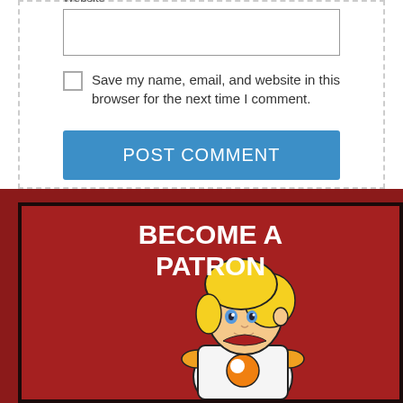Website
Save my name, email, and website in this browser for the next time I comment.
POST COMMENT
[Figure (illustration): Patreon promotional banner with dark red background showing 'BECOME A PATRON' text in bold white letters and an anime-style blonde female character wearing a white shirt with orange Patreon logo, viewed from behind/side.]